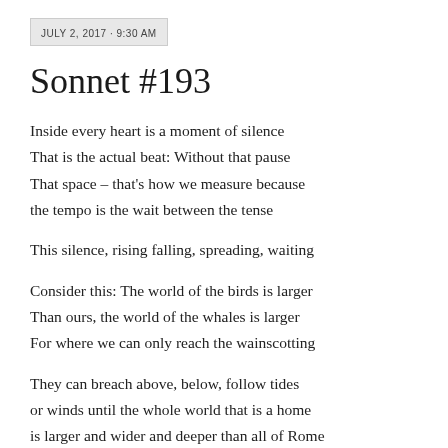JULY 2, 2017 · 9:30 AM
Sonnet #193
Inside every heart is a moment of silence
That is the actual beat: Without that pause
That space – that's how we measure because
the tempo is the wait between the tense

This silence, rising falling, spreading, waiting

Consider this: The world of the birds is larger
Than ours, the world of the whales is larger
For where we can only reach the wainscotting

They can breach above, below, follow tides
or winds until the whole world that is a home
is larger and wider and deeper than all of Rome
And the music that they make from where they
hide